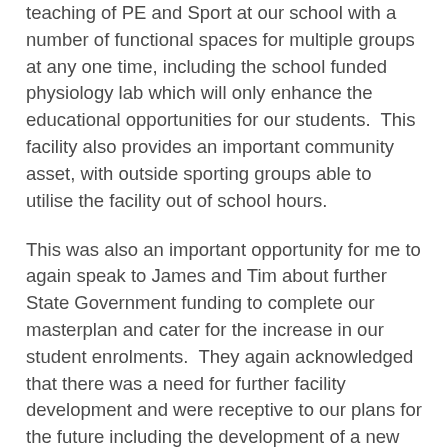teaching of PE and Sport at our school with a number of functional spaces for multiple groups at any one time, including the school funded physiology lab which will only enhance the educational opportunities for our students.  This facility also provides an important community asset, with outside sporting groups able to utilise the facility out of school hours.
This was also an important opportunity for me to again speak to James and Tim about further State Government funding to complete our masterplan and cater for the increase in our student enrolments.  They again acknowledged that there was a need for further facility development and were receptive to our plans for the future including the development of a new Visual Arts/Technology Centre, new Year 8 Learning Centre and a new Senior School